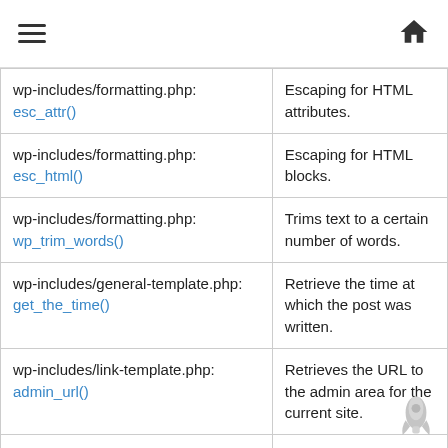≡  🏠
| File/Function | Description |
| --- | --- |
| wp-includes/formatting.php: esc_attr() | Escaping for HTML attributes. |
| wp-includes/formatting.php: esc_html() | Escaping for HTML blocks. |
| wp-includes/formatting.php: wp_trim_words() | Trims text to a certain number of words. |
| wp-includes/general-template.php: get_the_time() | Retrieve the time at which the post was written. |
| wp-includes/link-template.php: admin_url() | Retrieves the URL to the admin area for the current site. |
| wp-includes/link-template.php: get_edit_post_link() | Retrieves the edit post link for post. |